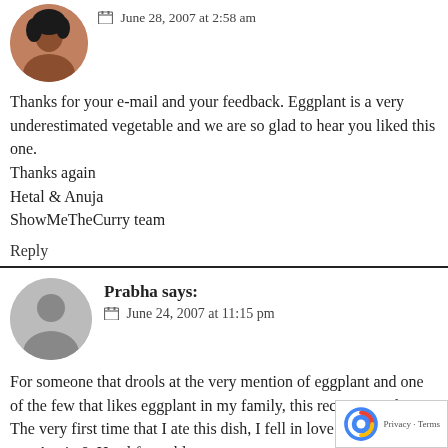June 28, 2007 at 2:58 am
Thanks for your e-mail and your feedback. Eggplant is a very underestimated vegetable and we are so glad to hear you liked this one.
Thanks again
Hetal & Anuja
ShowMeTheCurry team
Reply
Prabha says:
June 24, 2007 at 11:15 pm
For someone that drools at the very mention of eggplant and one of the few that likes eggplant in my family, this recipe is god-sent. The very first time that I ate this dish, I fell in love with it. Thank you Anuja & Hetal for publ... Don't blame me if some of my friends start emailing...